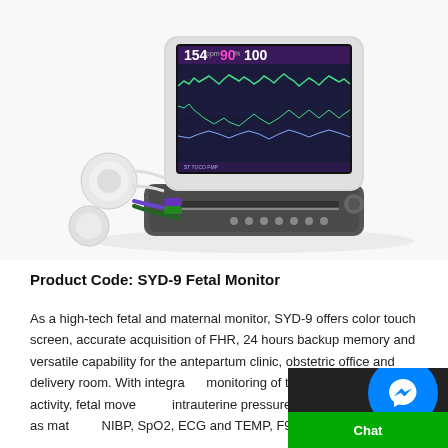[Figure (photo): SYD-9 Fetal Monitor device photo showing a medical monitor with color touch screen displaying fetal heart rate waveforms, with attached sensors/transducers and cables]
Product Code: SYD-9 Fetal Monitor
As a high-tech fetal and maternal monitor, SYD-9 offers color touch screen, accurate acquisition of FHR, 24 hours backup memory and versatile capability for the antepartum clinic, obstetric office and delivery room. With integrated monitoring of twins' FHR, uterine activity, fetal movement, intrauterine pressure and direct ECG as well as maternal NIBP, SpO2, ECG and TEMP, F9 is designed for the